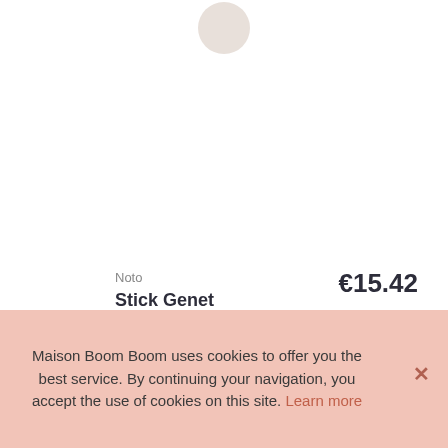[Figure (photo): Product image area with a small circular product placeholder at the top]
Noto
Stick Genet
Sold out !
€15.42
Maison Boom Boom uses cookies to offer you the best service. By continuing your navigation, you accept the use of cookies on this site. Learn more